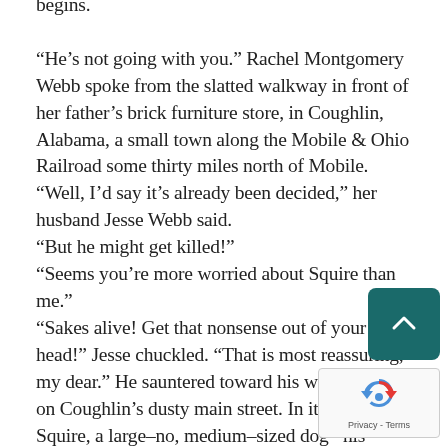begins.

“He’s not going with you.” Rachel Montgomery Webb spoke from the slatted walkway in front of her father’s brick furniture store, in Coughlin, Alabama, a small town along the Mobile & Ohio Railroad some thirty miles north of Mobile.
“Well, I’d say it’s already been decided,” her husband Jesse Webb said.
“But he might get killed!”
“Seems you’re more worried about Squire than me.”
“Sakes alive! Get that nonsense out of your head!” Jesse chuckled. “That is most reassuring, my dear.” He sauntered toward his wagon parked on Coughlin’s dusty main street. In its bed was Squire, a large–no, medium–sized dog– his shaggy golden–colored coat resembled a rug draping his back. His triangular ears, bent forward like flaps, sat atop his wedge–shaped head. His curvy tail, upraised with bountiful fur hanging from it like feathers, swished back and forth. It resembled a large plume, or some said a brush. His oversized forepaws were propped atop the wagon bed’s upper edge. His round molasses eyes twinkled, as though he understood